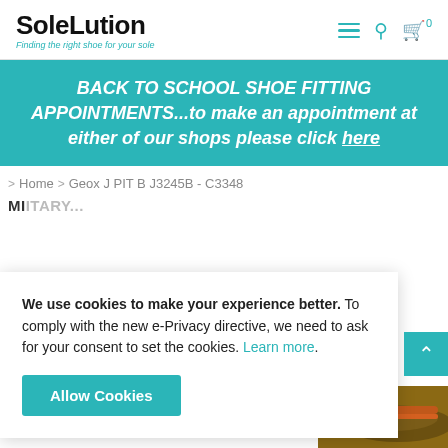SoleLution - Finding the right shoe for your sole
BACK TO SCHOOL SHOE FITTING APPOINTMENTS...to make an appointment at either of our shops please click here
> Home > Geox J PIT B J3245B - C3348
MI...
We use cookies to make your experience better. To comply with the new e-Privacy directive, we need to ask for your consent to set the cookies. Learn more.
Allow Cookies